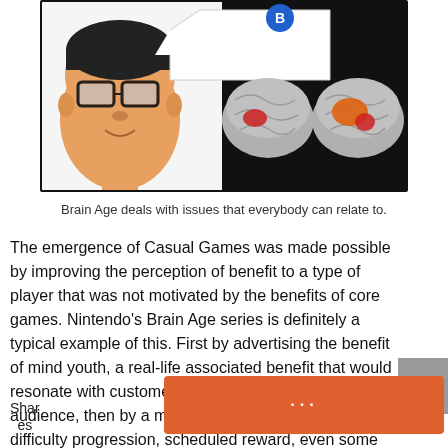[Figure (illustration): Two-panel image: left panel shows a cartoon/3D character face of a man with glasses and a speech bubble; right panel shows two brain images with red and orange highlighted regions, against a dark background. A blue circle icon appears at the top of the right panel.]
Brain Age deals with issues that everybody can relate to.
The emergence of Casual Games was made possible by improving the perception of benefit to a type of player that was not motivated by the benefits of core games. Nintendo’s Brain Age series is definitely a typical example of this. First by advertising the benefit of mind youth, a real-life associated benefit that would resonate with customers beyond the core gamer audience, then by a mix of constant praise, slow difficulty progression, scheduled reward, even some tempering with guilt when the player would miss a